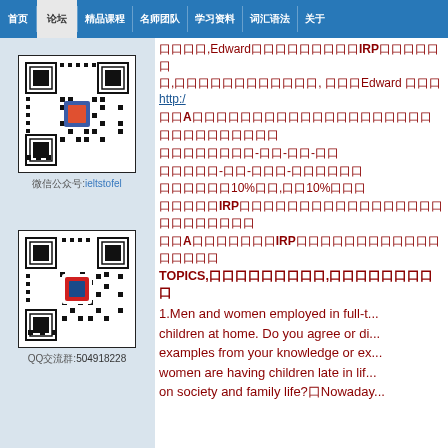首页 | 论坛 | 精品课程 | 名师团队 | 学习资料 | 词汇语法 | 关于
[Figure (other): QR code for WeChat official account ieltstofel]
微信公众号:ieltstofel
[Figure (other): QR code for QQ group 504918228]
QQ交流群:504918228
口口口口,Edward口口口口口口口口口IRP口口口口口口口,口口口口口口口口口口口口, 口口口Edward 口口口http:/...
口口A口口口口口口口口口口口口口口口口口口口口
口口口口口口口口口口
口口口口口口口口-口口-口口-口口
口口口口口-口口-口口口-口口口口口口
口口口口口口10%口口,口口10%口口口
口口口口口IRP口口口口口口口口口口口口口口口口口口口口口口口口口
口口A口口口口口口口IRP口口口口口口口口口口口口口口口口口
TOPICS,口口口口口口口口口,口口口口口口口口口
1.Men and women employed in full-t... children at home. Do you agree or di... examples from your knowledge or ex... women are having children late in lif... on society and family life?□Nowaday...